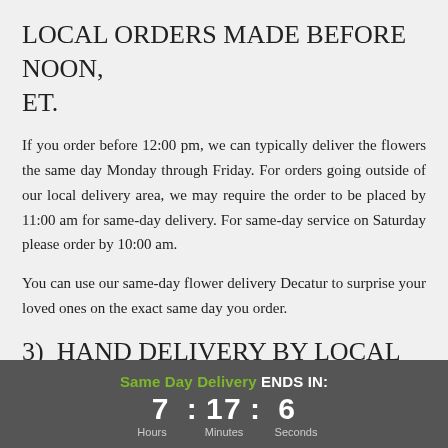LOCAL ORDERS MADE BEFORE NOON, ET.
If you order before 12:00 pm, we can typically deliver the flowers the same day Monday through Friday. For orders going outside of our local delivery area, we may require the order to be placed by 11:00 am for same-day delivery. For same-day service on Saturday please order by 10:00 am.
You can use our same-day flower delivery Decatur to surprise your loved ones on the exact same day you order.
3)  HAND DELIVERY BY LOCAL FLORIST
Same Day Delivery ENDS IN: 7 : 17 : 6 Hours Minutes Seconds